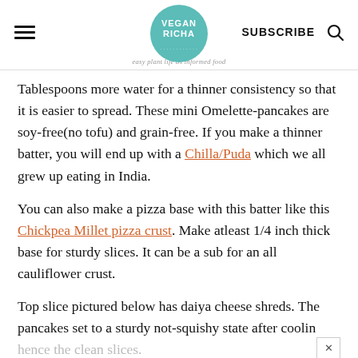VEGAN RICHA | SUBSCRIBE
Tablespoons more water for a thinner consistency so that it is easier to spread. These mini Omelette-pancakes are soy-free(no tofu) and grain-free. If you make a thinner batter, you will end up with a Chilla/Puda which we all grew up eating in India.
You can also make a pizza base with this batter like this Chickpea Millet pizza crust. Make atleast 1/4 inch thick base for sturdy slices. It can be a sub for an all cauliflower crust.
Top slice pictured below has daiya cheese shreds. The pancakes set to a sturdy not-squishy state after cooling, hence the clean slices.